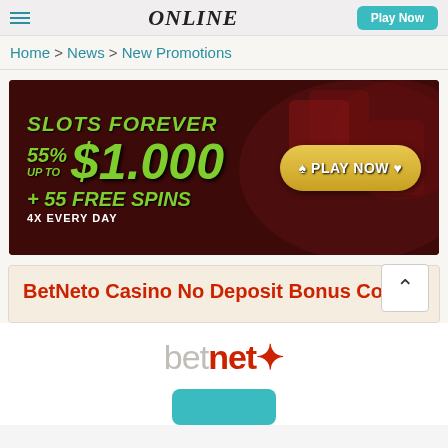ONLINE
Home > News > New Promotions
[Figure (infographic): Casino promotional banner: SLOTS FOREVER, 55% UP TO $1,000 + 55 FREE SPINS, 4X EVERY DAY, with a PLAY NOW button on dark red background with casino cards and chips]
BetNeto Casino No Deposit Bonus Codes
[Figure (logo): BetNeto logo: 'bet' in gray and 'neto' in red with a diamond/cross symbol]
[Figure (other): Teal/cyan button at bottom of page]